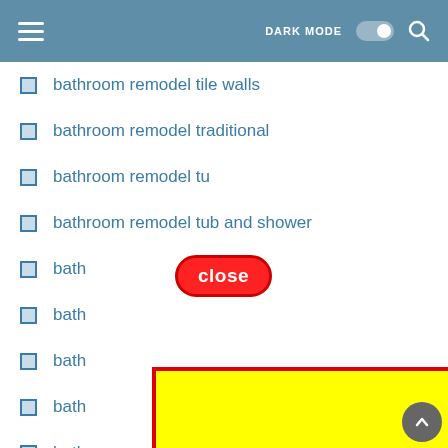DARK MODE [toggle] [search]
bathroom remodel tile walls
bathroom remodel traditional
bathroom remodel tu[b...]
bathroom remodel tub and shower
bath[room remodel...]
bath[room remodel...]
bath[room remodel...]
bath[room remodel...]
bath[room remodel...]
bath[room remodel...]
bath[room remodel...]
[Figure (screenshot): UI annotation showing a 'close' badge (red oval with white bold text 'close') over a list item, and a large yellow highlighted rectangle with red border covering the lower portion of the list]